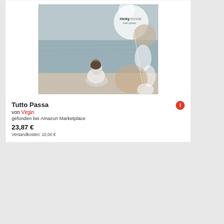[Figure (photo): Album cover for 'Tutto Passa' by Nicky Nicolai — a woman in white sitting on a beach in muted tones, with overlapping translucent circles/bubbles and the artist/album name text]
Tutto Passa
von Virgin
gefunden bei Amazon Marketplace
23,87 €
Versandkosten: 10,00 €
[Figure (photo): Partial view of a second album cover — blue toned image, partially cut off at bottom of page]